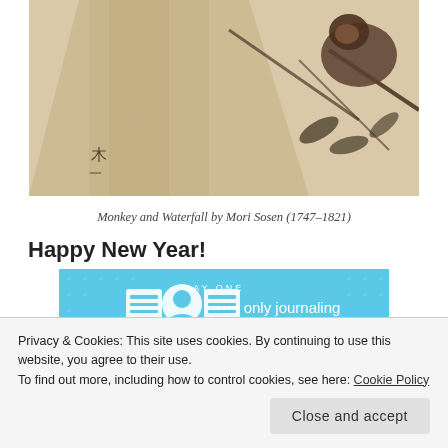[Figure (illustration): Cropped view of Japanese ink painting showing a monkey near a waterfall with branches, by Mori Sosen (1747-1821). Warm beige/tan background with dark ink brushwork.]
Monkey and Waterfall by Mori Sosen (1747–1821)
Happy New Year!
[Figure (screenshot): Day One app advertisement banner. Light blue background with three circular icons (notebook, person, notebook/list) and text: DAY ONE — The only journaling app you'll ever need.]
REPORT THIS AD
February 8 ushers in the year of the monkey. Hopefully it
Privacy & Cookies: This site uses cookies. By continuing to use this website, you agree to their use.
To find out more, including how to control cookies, see here: Cookie Policy